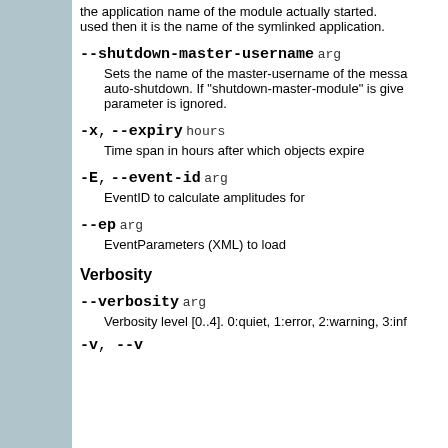the application name of the module actually started. used then it is the name of the symlinked application.
--shutdown-master-username arg
Sets the name of the master-username of the messa auto-shutdown. If "shutdown-master-module" is give parameter is ignored.
-x, --expiry hours
Time span in hours after which objects expire
-E, --event-id arg
EventID to calculate amplitudes for
--ep arg
EventParameters (XML) to load
Verbosity
--verbosity arg
Verbosity level [0..4]. 0:quiet, 1:error, 2:warning, 3:inf
-v, --v